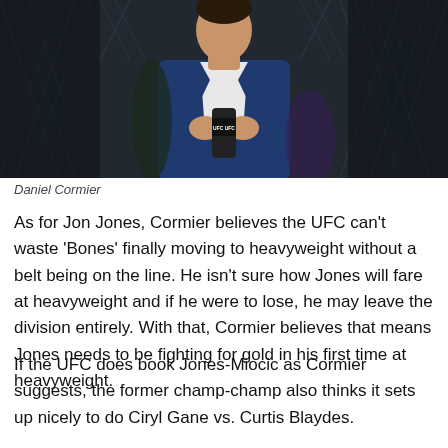[Figure (photo): Daniel Cormier in a blue suit holding a UFC microphone, standing in front of a chain-link fence/cage backdrop]
Daniel Cormier
As for Jon Jones, Cormier believes the UFC can't waste 'Bones' finally moving to heavyweight without a belt being on the line. He isn't sure how Jones will fare at heavyweight and if he were to lose, he may leave the division entirely. With that, Cormier believes that means Jones needs to be fighting for gold in his first time at heavyweight.
If the UFC does book Jones-Miocic as Cormier suggests, the former champ-champ also thinks it sets up nicely to do Ciryl Gane vs. Curtis Blaydes.